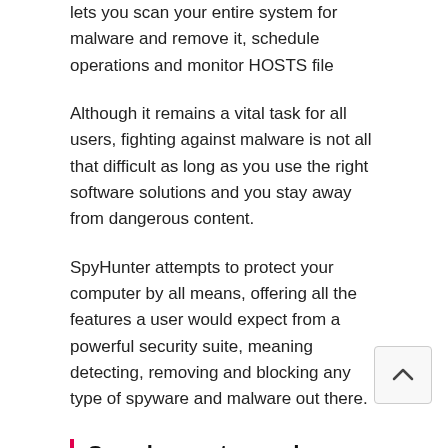lets you scan your entire system for malware and remove it, schedule operations and monitor HOSTS file
Although it remains a vital task for all users, fighting against malware is not all that difficult as long as you use the right software solutions and you stay away from dangerous content.
SpyHunter attempts to protect your computer by all means, offering all the features a user would expect from a powerful security suite, meaning detecting, removing and blocking any type of spyware and malware out there.
Seamless setup and user-friendly environment
It is very easy to install, as it does not come with any unpleasant surprises and it is over in just a few moments. Completing it brings you to a pretty well-organized layout which